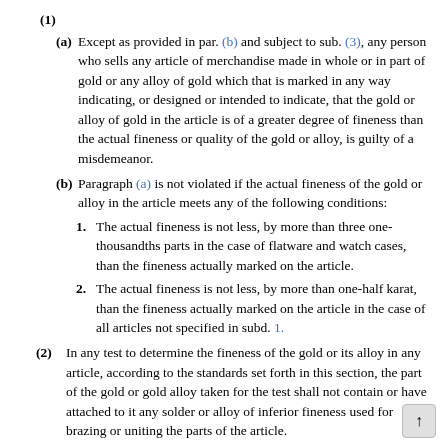(1)
(a) Except as provided in par. (b) and subject to sub. (3), any person who sells any article of merchandise made in whole or in part of gold or any alloy of gold which that is marked in any way indicating, or designed or intended to indicate, that the gold or alloy of gold in the article is of a greater degree of fineness than the actual fineness or quality of the gold or alloy, is guilty of a misdemeanor.
(b) Paragraph (a) is not violated if the actual fineness of the gold or alloy in the article meets any of the following conditions:
1. The actual fineness is not less, by more than three one-thousandths parts in the case of flatware and watch cases, than the fineness actually marked on the article.
2. The actual fineness is not less, by more than one-half karat, than the fineness actually marked on the article in the case of all articles not specified in subd. 1.
(2) In any test to determine the fineness of the gold or its alloy in any article, according to the standards set forth in this section, the part of the gold or gold alloy taken for the test shall not contain or have attached to it any solder or alloy of inferior fineness used for brazing or uniting the parts of the article.
(3) The actual fineness of the entire quantity of gold and gold alloys contained in any article mentioned in this section, except watch cases and flatware, including all solder or all of inferior metal used for brazing or uniting the parts of the